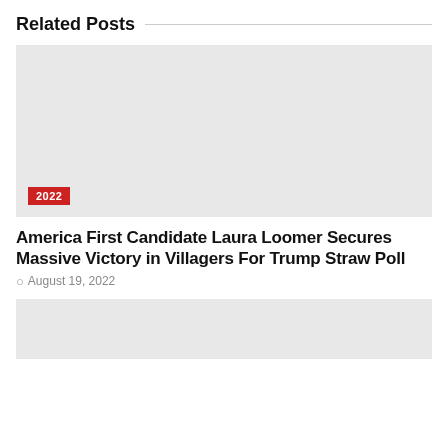Related Posts
[Figure (photo): Placeholder image for article thumbnail, light gray background with a red badge showing '2022' in the lower left corner]
America First Candidate Laura Loomer Secures Massive Victory in Villagers For Trump Straw Poll
August 19, 2022
[Figure (photo): Partial placeholder image for second article thumbnail, light gray background, cropped at bottom of page]